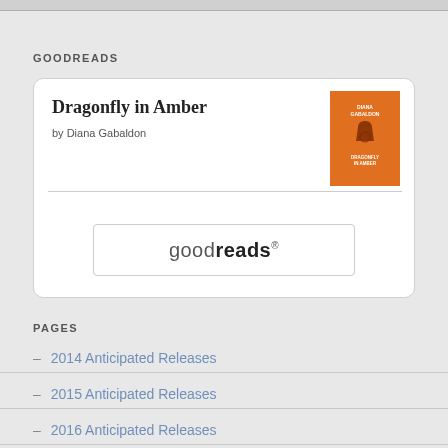GOODREADS
[Figure (screenshot): Goodreads widget card showing 'Dragonfly in Amber by Diana Gabaldon' with an orange book cover thumbnail and a goodreads button]
PAGES
– 2014 Anticipated Releases
– 2015 Anticipated Releases
– 2016 Anticipated Releases